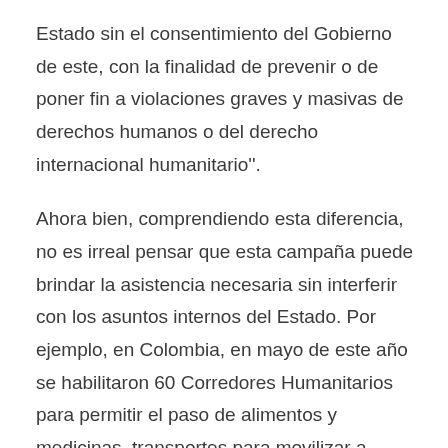Estado sin el consentimiento del Gobierno de este, con la finalidad de prevenir o de poner fin a violaciones graves y masivas de derechos humanos o del derecho internacional humanitario''.
Ahora bien, comprendiendo esta diferencia, no es irreal pensar que esta campaña puede brindar la asistencia necesaria sin interferir con los asuntos internos del Estado. Por ejemplo, en Colombia, en mayo de este año se habilitaron 60 Corredores Humanitarios para permitir el paso de alimentos y medicinas, transportes para movilizar a médicos y personas heridas durante las protestas contra el Gobierno. Además, en Cuba hay antecedentes de